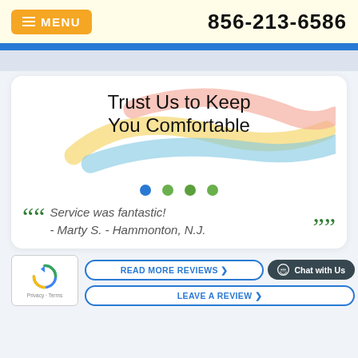MENU  856-213-6586
Trust Us to Keep You Comfortable
Service was fantastic! - Marty S. - Hammonton, N.J.
[Figure (logo): reCAPTCHA logo with Privacy and Terms links]
READ MORE REVIEWS
LEAVE A REVIEW
Chat with Us